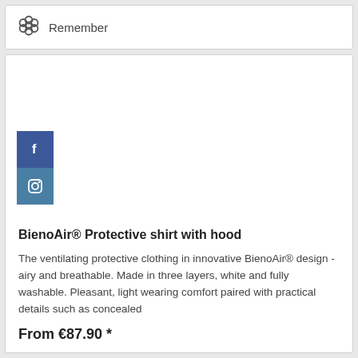Remember
[Figure (illustration): Blank white product image area with Facebook and Instagram social media icon buttons on the left side]
BienoAir® Protective shirt with hood
The ventilating protective clothing in innovative BienoAir® design - airy and breathable. Made in three layers, white and fully washable. Pleasant, light wearing comfort paired with practical details such as concealed
From €87.90 *